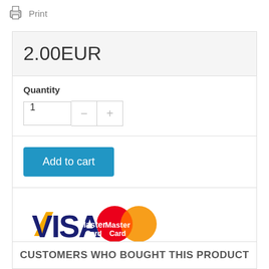Print
2.00EUR
Quantity
1
Add to cart
[Figure (logo): Visa and MasterCard payment logos side by side]
CUSTOMERS WHO BOUGHT THIS PRODUCT